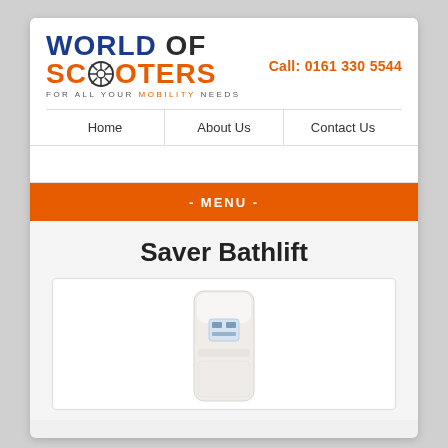[Figure (logo): World of Scooters logo with wheel graphic and tagline FOR ALL YOUR MOBILITY NEEDS]
Call: 0161 330 5544
Home | About Us | Contact Us
- MENU -
Saver Bathlift
[Figure (photo): White bathlift device standing upright, showing the seat cushion and control panel]